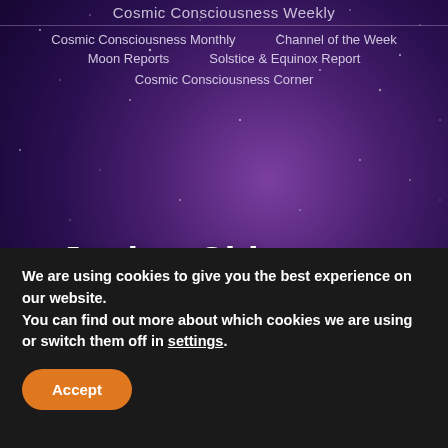Cosmic Consciousness Weekly
Cosmic Consciousness Monthly    Channel of the Week
Moon Reports    Solstice & Equinox Report
Cosmic Consciousness Corner
Jupiter Chiron Bridge Cosmic Consciousness
By Shelly Leal    February 24, 2016
Wednesday, February 24, 2016
We are using cookies to give you the best experience on our website.
You can find out more about which cookies we are using or switch them off in settings.
Accept